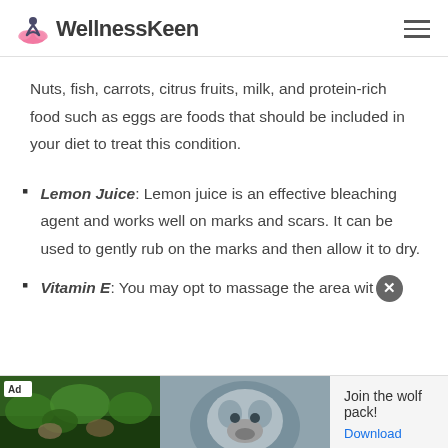WellnessKeen
Nuts, fish, carrots, citrus fruits, milk, and protein-rich food such as eggs are foods that should be included in your diet to treat this condition.
Lemon Juice: Lemon juice is an effective bleaching agent and works well on marks and scars. It can be used to gently rub on the marks and then allow it to dry.
Vitamin E: You may opt to massage the area wit
[Figure (other): Advertisement banner showing wolf pack game with 'Join the wolf pack!' text and Download link]